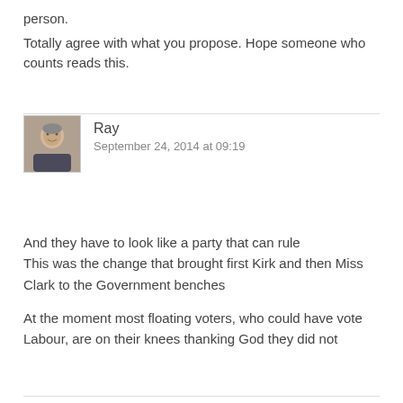person.
Totally agree with what you propose. Hope someone who counts reads this.
Ray
September 24, 2014 at 09:19
[Figure (photo): Profile photo of Ray, a man in dark clothing]
And they have to look like a party that can rule
This was the change that brought first Kirk and then Miss Clark to the Government benches
At the moment most floating voters, who could have vote Labour, are on their knees thanking God they did not